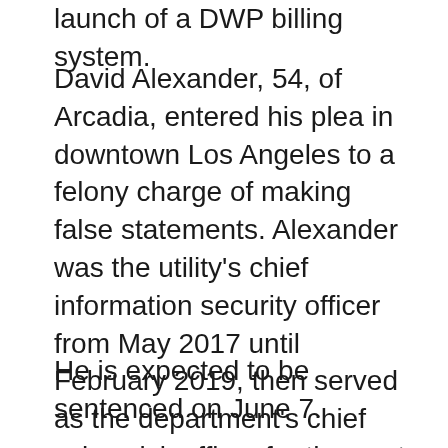launch of a DWP billing system.
David Alexander, 54, of Arcadia, entered his plea in downtown Los Angeles to a felony charge of making false statements. Alexander was the utility's chief information security officer from May 2017 until February 2019, then served as the department's chief cyber risk officer for the next six months.
He is expected to be sentenced on June 7.